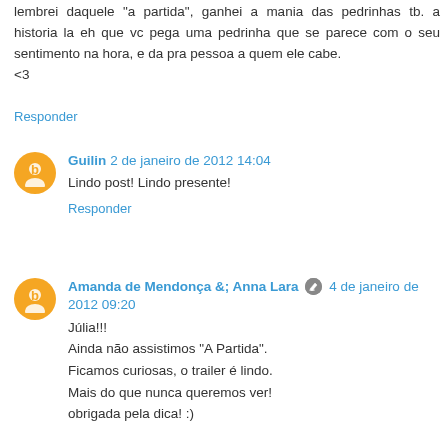lembrei daquele "a partida", ganhei a mania das pedrinhas tb. a historia la eh que vc pega uma pedrinha que se parece com o seu sentimento na hora, e da pra pessoa a quem ele cabe.
<3
Responder
Guilin  2 de janeiro de 2012 14:04
Lindo post! Lindo presente!
Responder
Amanda de Mendonça &; Anna Lara  4 de janeiro de 2012 09:20
Júlia!!!
Ainda não assistimos "A Partida".
Ficamos curiosas, o trailer é lindo.
Mais do que nunca queremos ver!
obrigada pela dica! :)